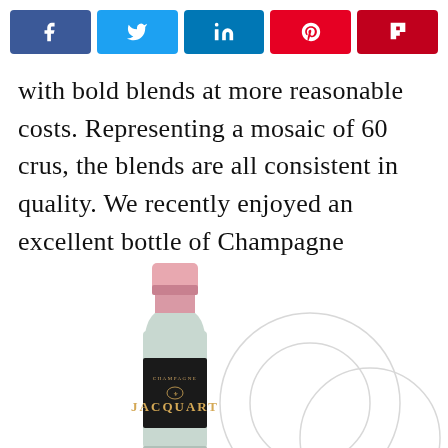[Figure (other): Social media share buttons row: Facebook (blue), Twitter (light blue), LinkedIn (dark blue), Pinterest (red), Flipboard (dark red)]
with bold blends at more reasonable costs. Representing a mosaic of 60 crus, the blends are all consistent in quality. We recently enjoyed an excellent bottle of Champagne Jacquart Rosé Mosaïque that retailed for $57.
[Figure (photo): A bottle of Champagne Jacquart rosé (pink foil, black label with JACQUART branding) partially visible, with faint circular mosaic design in background on white.]